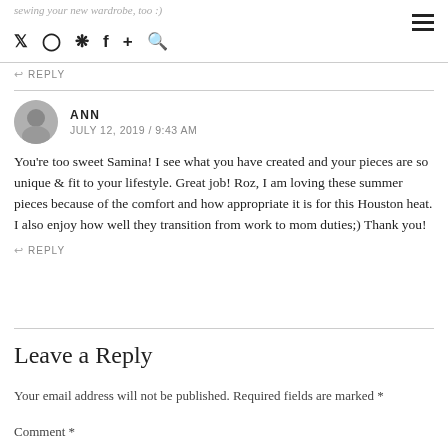sewing your new wardrobe, too :)
REPLY
ANN
JULY 12, 2019 / 9:43 AM
You're too sweet Samina! I see what you have created and your pieces are so unique & fit to your lifestyle. Great job! Roz, I am loving these summer pieces because of the comfort and how appropriate it is for this Houston heat. I also enjoy how well they transition from work to mom duties;) Thank you!
REPLY
Leave a Reply
Your email address will not be published. Required fields are marked *
Comment *